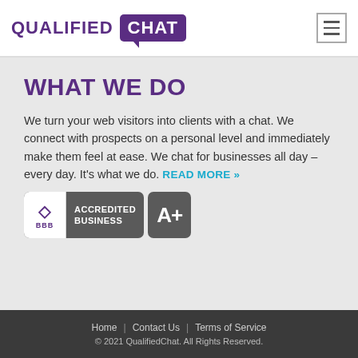[Figure (logo): Qualified Chat logo — QUALIFIED in purple text, CHAT in white text on purple speech bubble box]
WHAT WE DO
We turn your web visitors into clients with a chat. We connect with prospects on a personal level and immediately make them feel at ease. We chat for businesses all day – every day. It's what we do. READ MORE »
[Figure (logo): BBB Accredited Business A+ badge]
Home | Contact Us | Terms of Service
© 2021 QualifiedChat. All Rights Reserved.